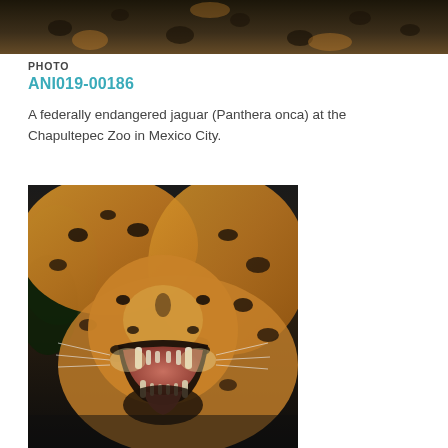[Figure (photo): Close-up photo of a jaguar with spotted coat, partially cropped at top of page]
PHOTO
ANI019-00186
A federally endangered jaguar (Panthera onca) at the Chapultepec Zoo in Mexico City.
[Figure (photo): Close-up photo of a jaguar (Panthera onca) with mouth open showing large fangs and teeth, spotted coat visible, at the Chapultepec Zoo in Mexico City]